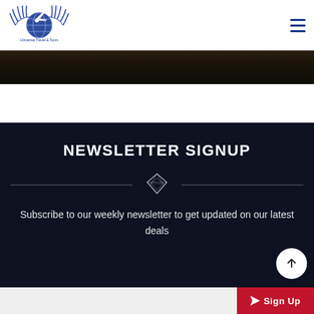Universal Travel & Tours logo and navigation
[Figure (photo): Dark landscape/safari photo strip across the page]
NEWSLETTER SIGNUP
[Figure (illustration): Diamond decorative divider with horizontal lines on each side]
Subscribe to our weekly newsletter to get updated on our latest deals
[Figure (other): Scroll-to-top circular button with upward arrow]
[Figure (other): Sign Up button (red) at bottom right of page]